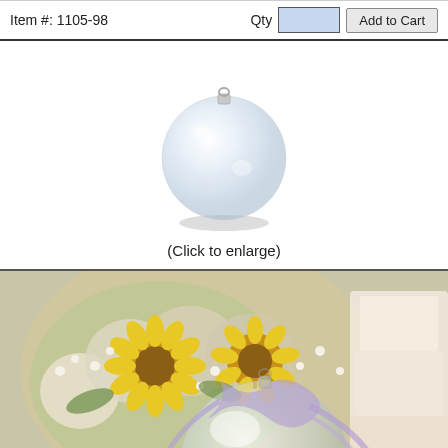Item #: 1105-98
Qty  Add to Cart
[Figure (photo): A clear plastic round ornament ball with a small loop at the top, shown against a white background.]
(Click to enlarge)
[Figure (photo): Lifestyle photo showing a clear plastic ornament ball filled with a small white dove, purple flowers, and lavender ribbon, displayed with sunflowers and a white wedding cake in the background.]
Leave a message  X